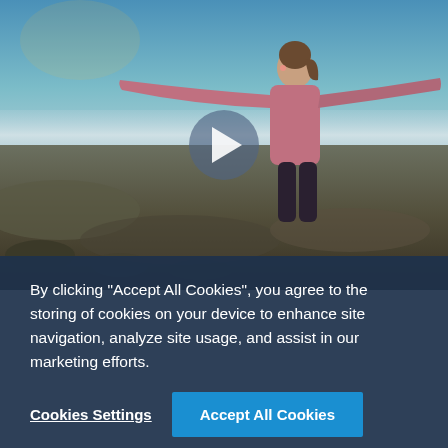[Figure (photo): A woman with arms outstretched standing on a hilltop above clouds, viewed from behind, wearing a pink hoodie, photographed at sunset/golden hour. A video play button overlay is visible in the center.]
By clicking “Accept All Cookies”, you agree to the storing of cookies on your device to enhance site navigation, analyze site usage, and assist in our marketing efforts.
Cookies Settings
Accept All Cookies